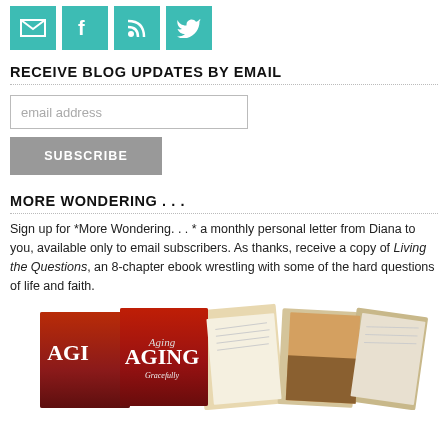[Figure (illustration): Four teal/cyan social media icon buttons: email, Facebook, RSS feed, and Twitter, displayed in a row at the top of the page.]
RECEIVE BLOG UPDATES BY EMAIL
email address
SUBSCRIBE
MORE WONDERING . . .
Sign up for *More Wondering. . . * a monthly personal letter from Diana to you, available only to email subscribers. As thanks, receive a copy of Living the Questions, an 8-chapter ebook wrestling with some of the hard questions of life and faith.
[Figure (photo): A collage of book covers and pages including books titled 'AGING' with decorative red/orange background, and lighter colored pages/covers fanned out.]